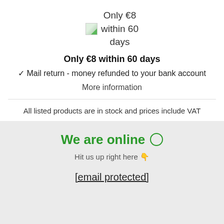[Figure (illustration): Small icon/image placeholder showing a green leaf or badge icon with the text 'Only €8 within 60 days']
Only €8 within 60 days
✓ Mail return - money refunded to your bank account
More information
All listed products are in stock and prices include VAT
We are online ○
Hit us up right here 👇
[email protected]